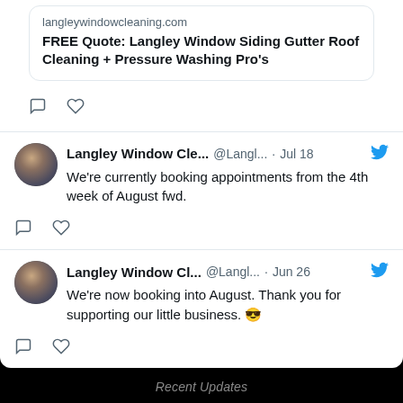langleywindowcleaning.com
FREE Quote: Langley Window Siding Gutter Roof Cleaning + Pressure Washing Pro's
Langley Window Cle... @Langl... · Jul 18 — We're currently booking appointments from the 4th week of August fwd.
Langley Window Cl... @Langl... · Jun 26 — We're now booking into August. Thank you for supporting our little business. 😎
Recent Updates